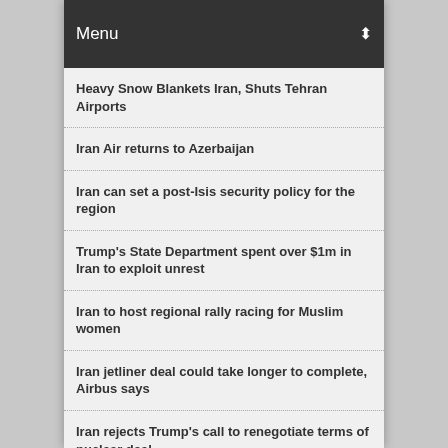Menu
Heavy Snow Blankets Iran, Shuts Tehran Airports
Iran Air returns to Azerbaijan
Iran can set a post-Isis security policy for the region
Trump's State Department spent over $1m in Iran to exploit unrest
Iran to host regional rally racing for Muslim women
Iran jetliner deal could take longer to complete, Airbus says
Iran rejects Trump's call to renegotiate terms of nuclear deal
Iran has foiled plot to use protests to overthrow system, leader says